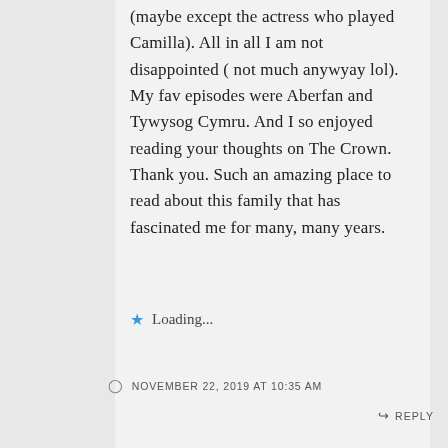(maybe except the actress who played Camilla). All in all I am not disappointed ( not much anywyay lol). My fav episodes were Aberfan and Tywysog Cymru. And I so enjoyed reading your thoughts on The Crown. Thank you. Such an amazing place to read about this family that has fascinated me for many, many years.
★ Loading...
NOVEMBER 22, 2019 AT 10:35 AM
↳ REPLY